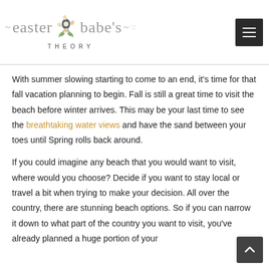easter babe's THEORY — site logo with menu button
With summer slowing starting to come to an end, it's time for that fall vacation planning to begin. Fall is still a great time to visit the beach before winter arrives. This may be your last time to see the breathtaking water views and have the sand between your toes until Spring rolls back around.
If you could imagine any beach that you would want to visit, where would you choose? Decide if you want to stay local or travel a bit when trying to make your decision. All over the country, there are stunning beach options. So if you can narrow it down to what part of the country you want to visit, you've already planned a huge portion of your